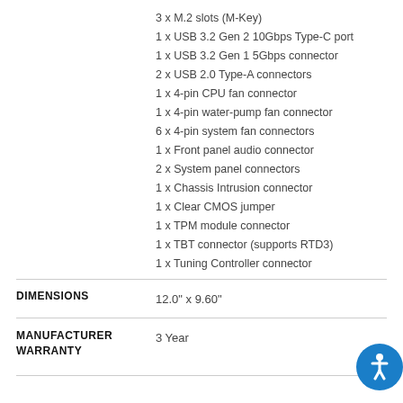3 x M.2 slots (M-Key)
1 x USB 3.2 Gen 2 10Gbps Type-C port
1 x USB 3.2 Gen 1 5Gbps connector
2 x USB 2.0 Type-A connectors
1 x 4-pin CPU fan connector
1 x 4-pin water-pump fan connector
6 x 4-pin system fan connectors
1 x Front panel audio connector
2 x System panel connectors
1 x Chassis Intrusion connector
1 x Clear CMOS jumper
1 x TPM module connector
1 x TBT connector (supports RTD3)
1 x Tuning Controller connector
DIMENSIONS
12.0" x 9.60"
MANUFACTURER WARRANTY
3 Year